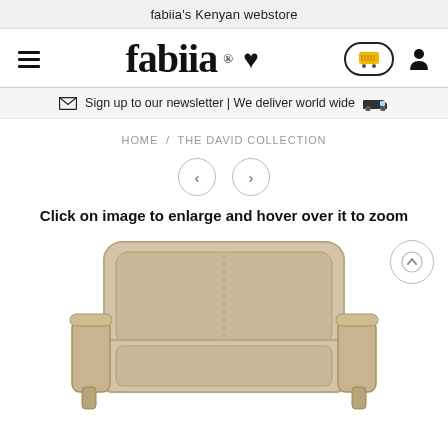fabiia's Kenyan webstore
[Figure (logo): fabiia logo with hamburger menu, heart icon, shopping cart button, and user icon]
Sign up to our newsletter | We deliver world wide
HOME / THE DAVID COLLECTION
[Figure (other): Left and right navigation arrow buttons in circles]
Click on image to enlarge and hover over it to zoom
[Figure (photo): Beige upholstered armchair with wooden frame, front view — The David Collection]